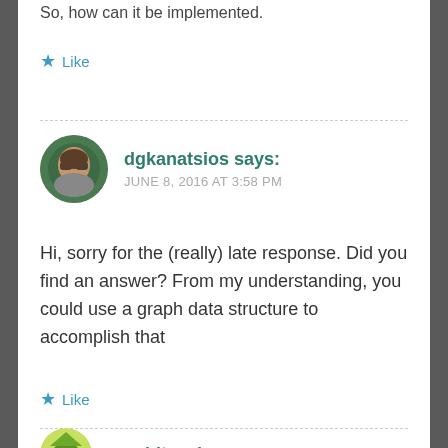So, how can it be implemented.
★ Like
dgkanatsios says: JUNE 8, 2016 AT 3:58 PM
Hi, sorry for the (really) late response. Did you find an answer? From my understanding, you could use a graph data structure to accomplish that
★ Like
aarshitaacharya says: